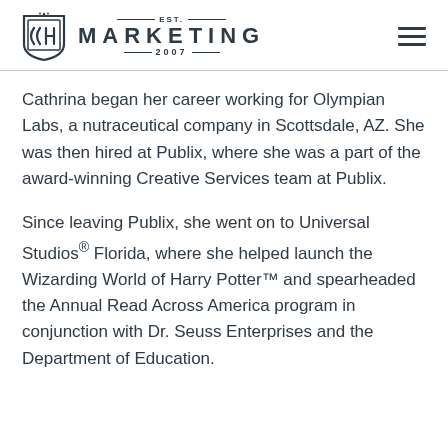[Figure (logo): OCH Marketing logo with shield icon, EST. MARKETING 2007 text with decorative rules]
Cathrina began her career working for Olympian Labs, a nutraceutical company in Scottsdale, AZ. She was then hired at Publix, where she was a part of the award-winning Creative Services team at Publix.
Since leaving Publix, she went on to Universal Studios® Florida, where she helped launch the Wizarding World of Harry Potter™ and spearheaded the Annual Read Across America program in conjunction with Dr. Seuss Enterprises and the Department of Education.